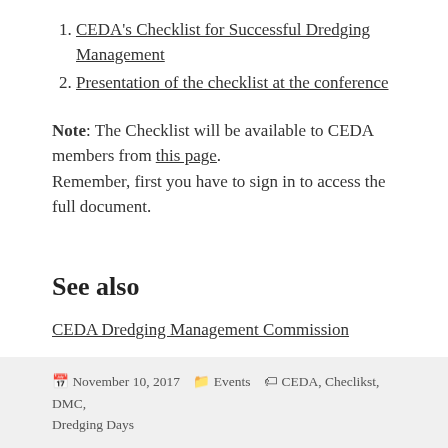CEDA's Checklist for Successful Dredging Management
Presentation of the checklist at the conference
Note: The Checklist will be available to CEDA members from this page. Remember, first you have to sign in to access the full document.
See also
CEDA Dredging Management Commission
November 10, 2017  Events  CEDA, Checlikst, DMC, Dredging Days